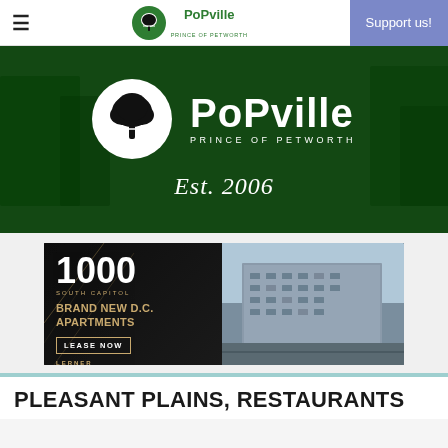≡  PoPville Prince of Petworth  Support us!
[Figure (logo): PoPville Prince of Petworth hero banner with tree logo, brand name, and Est. 2006]
[Figure (photo): Advertisement: 1000 South Capitol - Brand New D.C. Apartments - Lease Now - Lerner]
PLEASANT PLAINS, RESTAURANTS